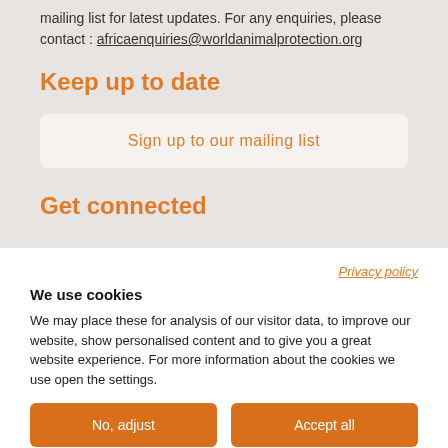mailing list for latest updates. For any enquiries, please contact : africaenquiries@worldanimalprotection.org
Keep up to date
Sign up to our mailing list
Get connected
Privacy policy
We use cookies
We may place these for analysis of our visitor data, to improve our website, show personalised content and to give you a great website experience. For more information about the cookies we use open the settings.
No, adjust
Accept all